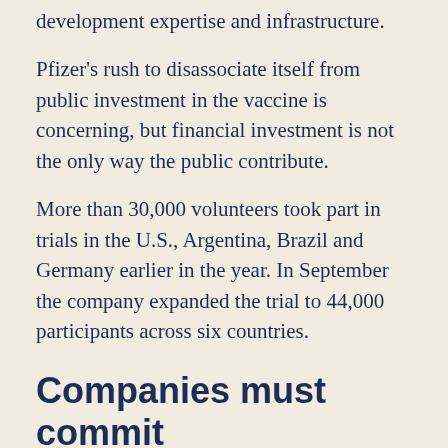development expertise and infrastructure.
Pfizer’s rush to disassociate itself from public investment in the vaccine is concerning, but financial investment is not the only way the public contribute.
More than 30,000 volunteers took part in trials in the U.S., Argentina, Brazil and Germany earlier in the year. In September the company expanded the trial to 44,000 participants across six countries.
Companies must commit
“Every single vaccine candidate